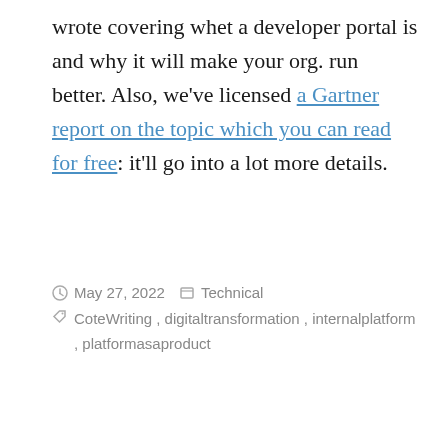wrote covering whet a developer portal is and why it will make your org. run better. Also, we've licensed a Gartner report on the topic which you can read for free: it'll go into a lot more details.
May 27, 2022   Technical   CoteWriting, digitaltransformation, internalplatform, platformasaproduct